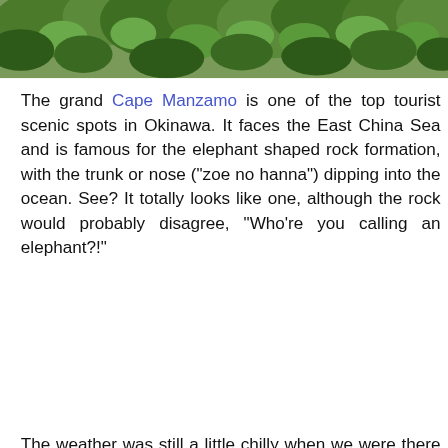[Figure (photo): Top portion of photo showing green tropical foliage and leaves against a natural background]
The grand Cape Manzamo is one of the top tourist scenic spots in Okinawa. It faces the East China Sea and is famous for the elephant shaped rock formation, with the trunk or nose ("zoe no hanna") dipping into the ocean. See? It totally looks like one, although the rock would probably disagree, "Who're you calling an elephant?!"
The weather was still a little chilly when we were there (early March). I have seen in pictures how the waters are gorgeous shades of turquoise during summer.
[Figure (photo): Photo of Cape Manzamo showing people walking on a path through grassy fields with trees and ocean horizon visible in the background under a cloudy sky]